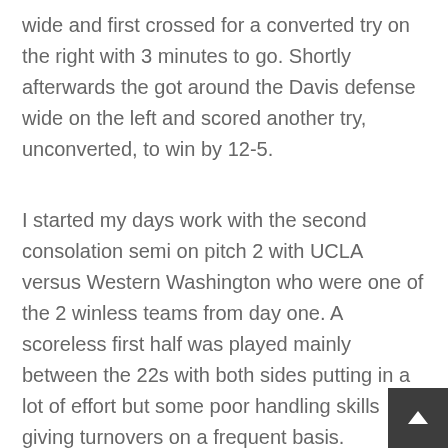wide and first crossed for a converted try on the right with 3 minutes to go. Shortly afterwards the got around the Davis defense wide on the left and scored another try, unconverted, to win by 12-5.
I started my days work with the second consolation semi on pitch 2 with UCLA versus Western Washington who were one of the 2 winless teams from day one. A scoreless first half was played mainly between the 22s with both sides putting in a lot of effort but some poor handling skills giving turnovers on a frequent basis.